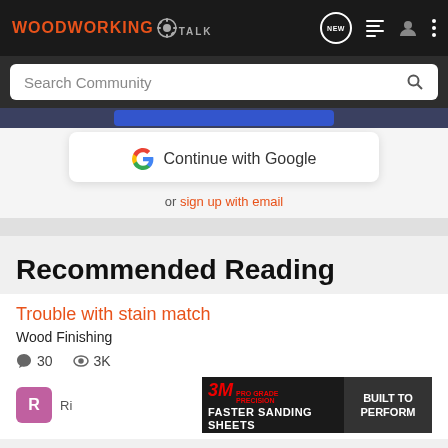[Figure (screenshot): WoodworkingTalk website header with dark nav bar showing logo, NEW chat icon, list icon, user icon, and three-dot menu]
[Figure (screenshot): Search Community input field with magnifying glass icon on dark background]
[Figure (screenshot): Google Continue login card showing G logo with 'Continue with Google' text]
or sign up with email
Recommended Reading
Trouble with stain match
Wood Finishing
30  3K
[Figure (screenshot): 3M Pro Grade Precision advertisement banner: Faster Sanding Sheets / Built to Perform]